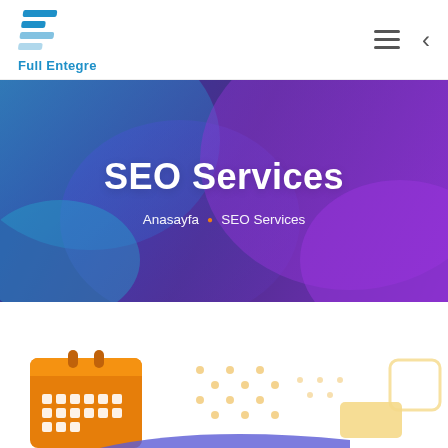[Figure (logo): Full Entegre logo with blue stylized letter F icon and blue company name text]
SEO Services
Anasayfa • SEO Services
[Figure (illustration): Bottom section showing an orange calendar icon, scattered dot pattern decorations, yellow rectangles, and a rounded rectangle outline on white background]